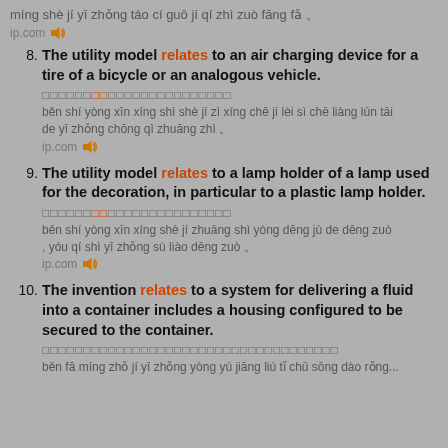míng shè jí yī zhǒng táo cí guō jí qí zhì zuò fāng fǎ 。
ip.com [speaker icon]
8. The utility model relates to an air charging device for a tire of a bicycle or an analogous vehicle.
[Chinese characters] běn shí yòng xīn xíng shì shè jí zì xíng chē jí lèi sì chē liàng lún tāi de yī zhǒng chōng qì zhuāng zhì 。
ip.com [speaker icon]
9. The utility model relates to a lamp holder of a lamp used for the decoration, in particular to a plastic lamp holder.
[Chinese characters] běn shí yòng xīn xíng shè jí zhuāng shì yòng dēng jù de dēng zuò , yóu qí shì yī zhǒng sù liào dēng zuò 。
ip.com [speaker icon]
10. The invention relates to a system for delivering a fluid into a container includes a housing configured to be secured to the container.
[Chinese characters]
běn fā míng zhǒ jí yī zhǒng yòng yú jiāng liú tǐ chū sōng dào rǒng...